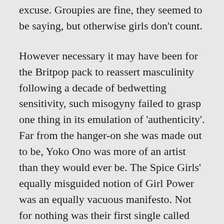excuse. Groupies are fine, they seemed to be saying, but otherwise girls don't count.
However necessary it may have been for the Britpop pack to reassert masculinity following a decade of bedwetting sensitivity, such misogyny failed to grasp one thing in its emulation of ‘authenticity’. Far from the hanger-on she was made out to be, Yoko Ono was more of an artist than they would ever be. The Spice Girls’ equally misguided notion of Girl Power was an equally vacuous manifesto. Not for nothing was their first single called ‘Wannabe’.
Such rock follies may appear incongruous in introducing an exhibition and associated events by female artists who utilise mediums of sound,